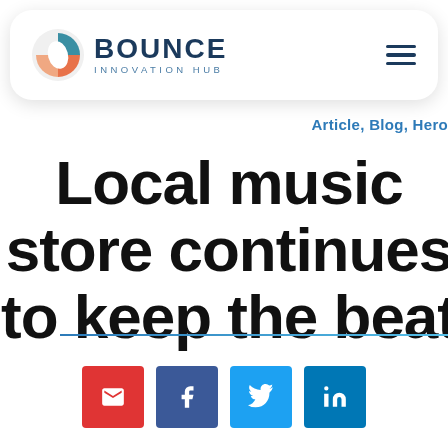[Figure (logo): Bounce Innovation Hub logo with circular multi-color icon and bold text]
Article, Blog, Hero
Local music store continues to keep the beat
[Figure (other): Social share buttons: email (red), Facebook (dark blue), Twitter (light blue), LinkedIn (blue)]